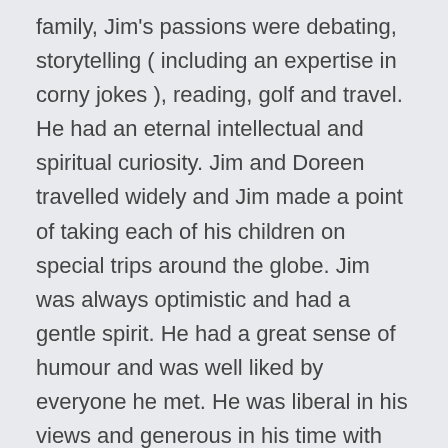family, Jim's passions were debating, storytelling ( including an expertise in corny jokes ), reading, golf and travel. He had an eternal intellectual and spiritual curiosity. Jim and Doreen travelled widely and Jim made a point of taking each of his children on special trips around the globe. Jim was always optimistic and had a gentle spirit. He had a great sense of humour and was well liked by everyone he met. He was liberal in his views and generous in his time with family and the many close friends he made along the way. After a short hospitalization, Jim passed with dignity, grace and peace on Sept 10, 2017, surrounded by his family and beloved Doreen. He was able to have a special connection with each of his children in the last days of his life. No words can capture a life but the strong family connections with his children, grandchildren and great grandchildren speak to the great love Jim and Doreen